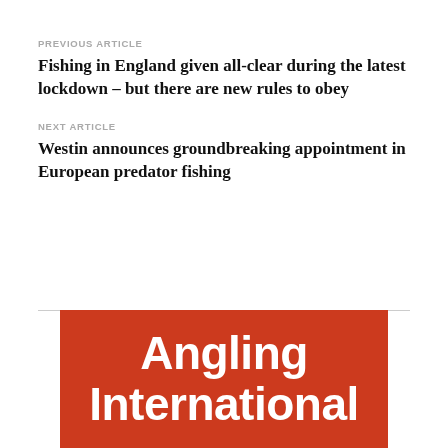PREVIOUS ARTICLE
Fishing in England given all-clear during the latest lockdown – but there are new rules to obey
NEXT ARTICLE
Westin announces groundbreaking appointment in European predator fishing
[Figure (logo): Angling International logo — white bold text on red/orange background]